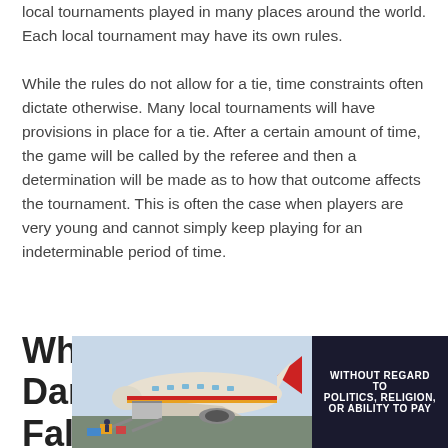local tournaments played in many places around the world. Each local tournament may have its own rules.
While the rules do not allow for a tie, time constraints often dictate otherwise. Many local tournaments will have provisions in place for a tie. After a certain amount of time, the game will be called by the referee and then a determination will be made as to how that outcome affects the tournament. This is often the case when players are very young and cannot simply keep playing for an indeterminable period of time.
What Happens if Darkness Falls?
[Figure (photo): Advertisement showing cargo being loaded onto an airplane, with a dark banner reading WITHOUT REGARD TO POLITICS, RELIGION, OR ABILITY TO PAY]